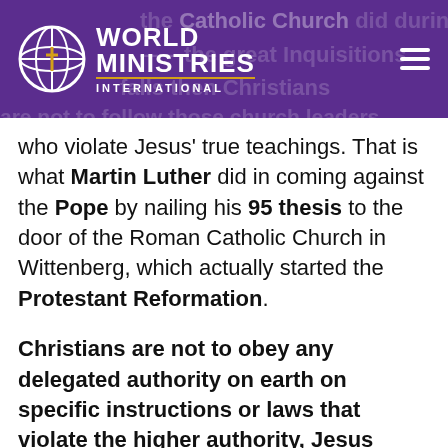[Figure (logo): World Ministries International logo with globe icon and purple header bar with hamburger menu. Background shows faded text about Catholic Church, Inquisitions, and church leaders.]
who violate Jesus' true teachings. That is what Martin Luther did in coming against the Pope by nailing his 95 thesis to the door of the Roman Catholic Church in Wittenberg, which actually started the Protestant Reformation.
Christians are not to obey any delegated authority on earth on specific instructions or laws that violate the higher authority, Jesus Christ. When civil authority makes laws that contradict the traditional values of America which originated